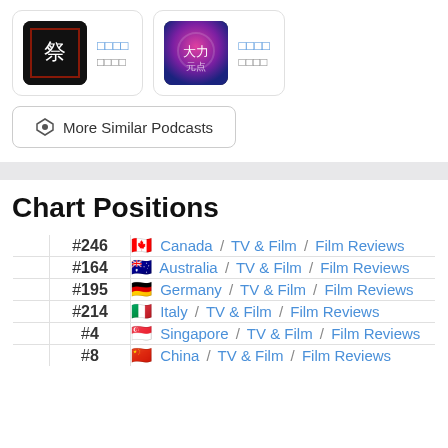[Figure (other): Two podcast cards side by side, each with a thumbnail image, title in Chinese characters (shown as boxes), and subtitle in Chinese characters.]
More Similar Podcasts
Chart Positions
| Rank | Country / Category / Subcategory |
| --- | --- |
| #246 | Canada / TV & Film / Film Reviews |
| #164 | Australia / TV & Film / Film Reviews |
| #195 | Germany / TV & Film / Film Reviews |
| #214 | Italy / TV & Film / Film Reviews |
| #4 | Singapore / TV & Film / Film Reviews |
| #8 | China / TV & Film / Film Reviews |